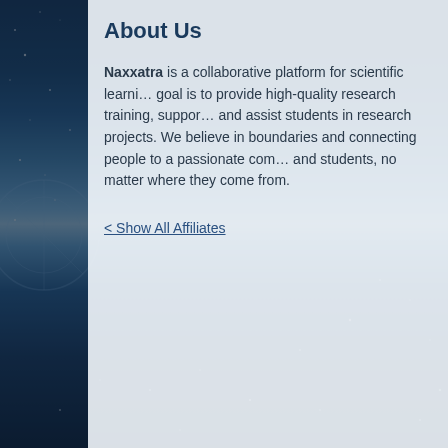About Us
Naxxatra is a collaborative platform for scientific learning. Our goal is to provide high-quality research training, support, and assist students in research projects. We believe in crossing boundaries and connecting people to a passionate community of researchers and students, no matter where they come from.
< Show All Affiliates